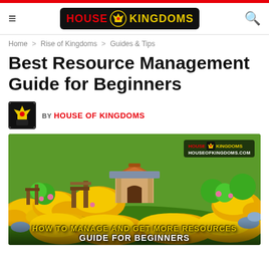House of Kingdoms — Site Header with logo, hamburger menu, and search icon
Home > Rise of Kingdoms > Guides & Tips
Best Resource Management Guide for Beginners
BY HOUSE OF KINGDOMS
[Figure (screenshot): Hero image from Rise of Kingdoms game showing gold resources piled around a building structure, with text overlay 'HOW TO MANAGE AND GET MORE RESOURCES GUIDE FOR BEGINNERS' and House of Kingdoms watermark in top right.]